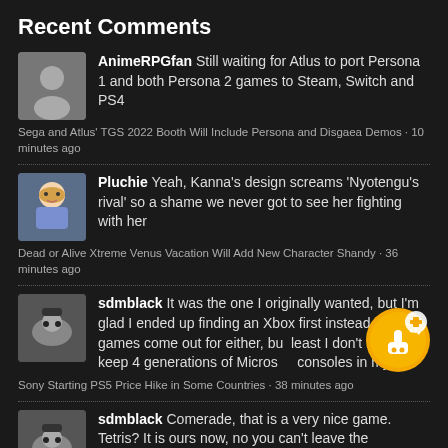Recent Comments
AnimeRPGfan Still waiting for Atlus to port Persona 1 and both Persona 2 games to Steam, Switch and PS4
Sega and Atlus' TGS 2022 Booth Will Include Persona and Disgaea Demos · 10 minutes ago
Pluchie Yeah, Kanna's design screams 'Nyotengu's rival' so a shame we never got to see her fighting with her
Dead or Alive Xtreme Venus Vacation Will Add New Character Shandy · 36 minutes ago
sdmblack It was the one I originally wanted, but I'm glad I ended up finding an Xbox first instead. No games come out for either, but least I don't need to keep 4 generations of Microsoft consoles in my...
Sony Starting PS5 Price Hike in Some Countries · 38 minutes ago
sdmblack Comerade, that is a very nice game. Tetris? It is ours now, no you can't leave the...